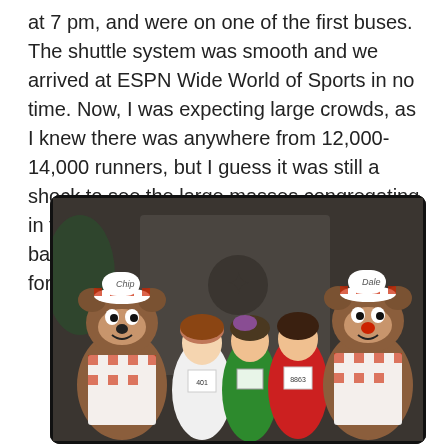at 7 pm, and were on one of the first buses. The shuttle system was smooth and we arrived at ESPN Wide World of Sports in no time. Now, I was expecting large crowds, as I knew there was anywhere from 12,000-14,000 runners, but I guess it was still a shock to see the large masses congregating in the field that evening. We headed over to bag check and then proceeded to a line up for a photo with Chip & Dale.
[Figure (photo): Photo of three women in running race bibs posing with two Chip and Dale chipmunk mascot characters dressed in chef outfits with red and white checkered hats and aprons, at what appears to be a Disney race event.]